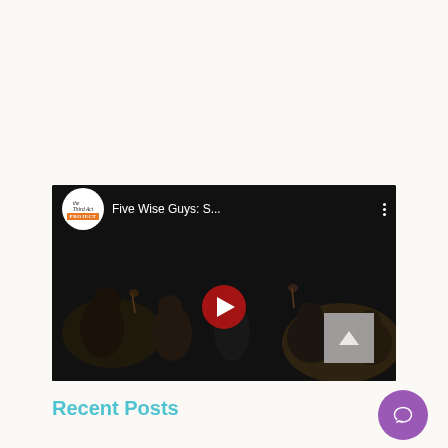[Figure (screenshot): Embedded YouTube video thumbnail showing 'Five Wise Guys: S...' from The Third Act Project channel. Dark background with group of people, red play button in center, three-dot menu icon top right.]
Recent Posts